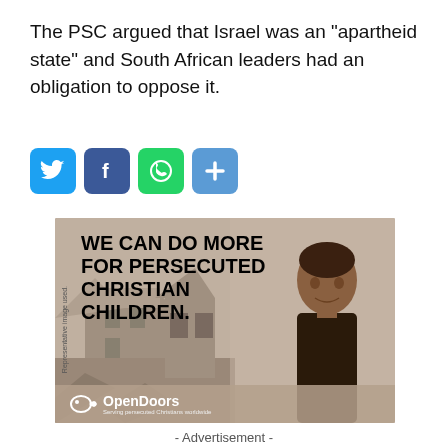The PSC argued that Israel was an “apartheid state” and South African leaders had an obligation to oppose it.
[Figure (infographic): Social sharing buttons: Twitter (blue bird icon), Facebook (blue f icon), WhatsApp (green phone icon), Share (blue plus icon)]
[Figure (photo): Advertisement for Open Doors showing a young boy standing in front of rubble with bold text reading 'WE CAN DO MORE FOR PERSECUTED CHRISTIAN CHILDREN.' with OpenDoors logo at the bottom and text 'Serving persecuted Christians worldwide'. Vertical text on left reads 'Representative image used.']
- Advertisement -